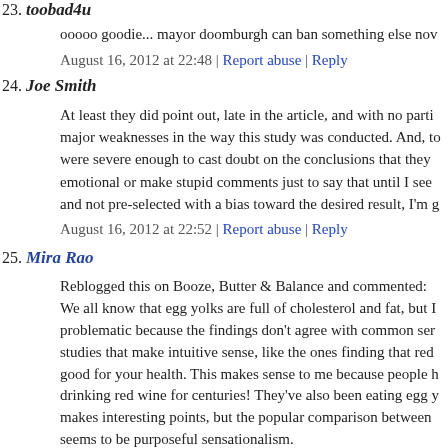23. toobad4u
ooooo goodie... mayor doomburgh can ban something else now
August 16, 2012 at 22:48 | Report abuse | Reply
24. Joe Smith
At least they did point out, late in the article, and with no parti... major weaknesses in the way this study was conducted. And, t... were severe enough to cast doubt on the conclusions that they... emotional or make stupid comments just to say that until I see... and not pre-selected with a bias toward the desired result, I'm g...
August 16, 2012 at 22:52 | Report abuse | Reply
25. Mira Rao
Reblogged this on Booze, Butter & Balance and commented: We all know that egg yolks are full of cholesterol and fat, but I... problematic because the findings don't agree with common ser... studies that make intuitive sense, like the ones finding that red... good for your health. This makes sense to me because people h... drinking red wine for centuries! They've also been eating egg y... makes interesting points, but the popular comparison between... seems to be purposeful sensationalism.
August 16, 2012 at 22:52 | Report abuse | Reply